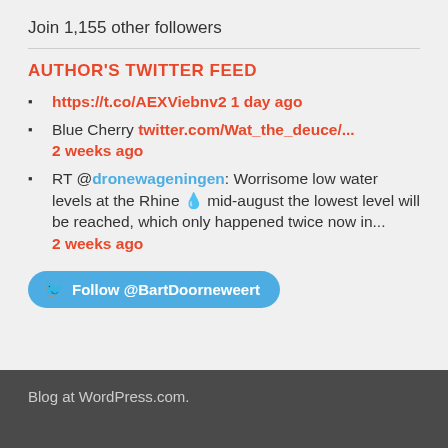Join 1,155 other followers
AUTHOR'S TWITTER FEED
https://t.co/AEXViebnv2 1 day ago
Blue Cherry twitter.com/Wat_the_deuce/... 2 weeks ago
RT @dronewageningen: Worrisome low water levels at the Rhine 💧 mid-august the lowest level will be reached, which only happened twice now in... 2 weeks ago
Follow @BartDoorneweert
Blog at WordPress.com.